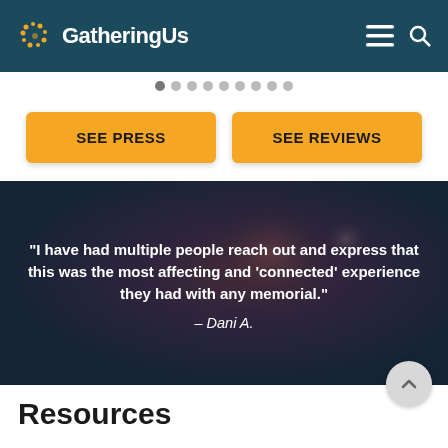GatheringUs
SEE PRESS
SEE REVIEWS
[Figure (photo): Background photo of flowers/candles with dark overlay, containing a testimonial quote]
“I have had multiple people reach out and express that this was the most affecting and 'connected' experience they had with any memorial.”
– Dani A.
Resources